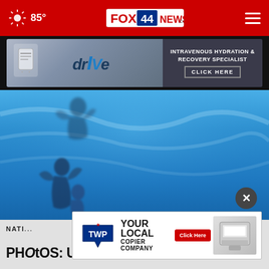85° FOX 44 NEWS.com
[Figure (photo): DrIVe IV Hydration Spa advertisement banner: 'INTRAVENOUS HYDRATION & RECOVERY SPECIALIST - CLICK HERE']
[Figure (photo): Underwater photograph showing two swimmers/divers in blue water, one at top and one at bottom of frame]
NATI...
PHOtOS: US swimmer Anua
[Figure (photo): TWP Your Local Copier Company advertisement with 'Click Here' button and image of copier machine]